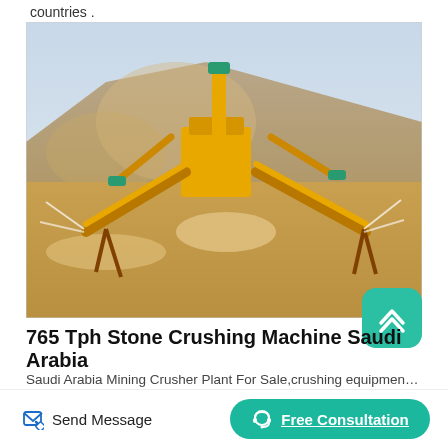countries .
[Figure (photo): Stone crushing plant with yellow conveyor belt machinery and industrial crushers operating in a desert/sandy environment in Saudi Arabia, with dust clouds visible.]
765 Tph Stone Crushing Machine Saudi Arabia
Saudi Arabia Mining Crusher Plant For Sale,crushing equipment supplier
Send Message
Free Consultation